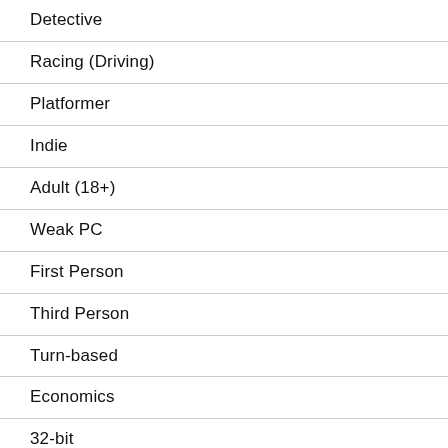Detective
Racing (Driving)
Platformer
Indie
Adult (18+)
Weak PC
First Person
Third Person
Turn-based
Economics
32-bit
Atmospheric
Open World